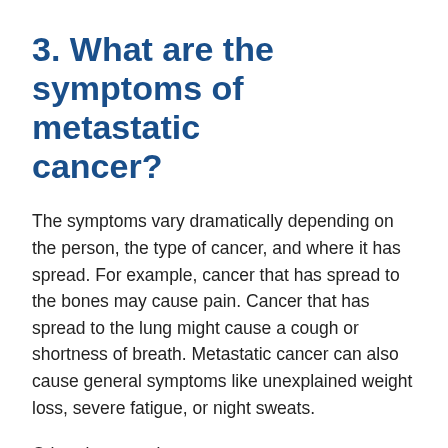3. What are the symptoms of metastatic cancer?
The symptoms vary dramatically depending on the person, the type of cancer, and where it has spread. For example, cancer that has spread to the bones may cause pain. Cancer that has spread to the lung might cause a cough or shortness of breath. Metastatic cancer can also cause general symptoms like unexplained weight loss, severe fatigue, or night sweats.
Other times, patients may not report any symptoms, but we detect an abnormality on their blood work. For example, a patient with liver